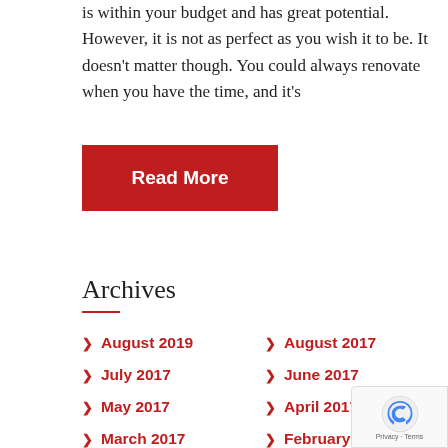is within your budget and has great potential. However, it is not as perfect as you wish it to be. It doesn't matter though. You could always renovate when you have the time, and it's
Read More
Archives
August 2019
August 2017
July 2017
June 2017
May 2017
April 2017
March 2017
February 2017
January 2017
December 2016
November 2016
October 2016